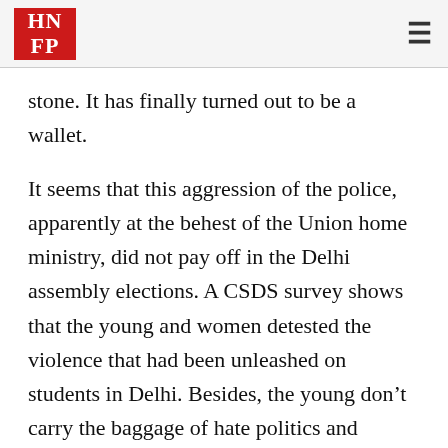HNFP
stone. It has finally turned out to be a wallet.
It seems that this aggression of the police, apparently at the behest of the Union home ministry, did not pay off in the Delhi assembly elections. A CSDS survey shows that the young and women detested the violence that had been unleashed on students in Delhi. Besides, the young don't carry the baggage of hate politics and xenophobia on their shoulders. The shift of the youth vote against the BJP has